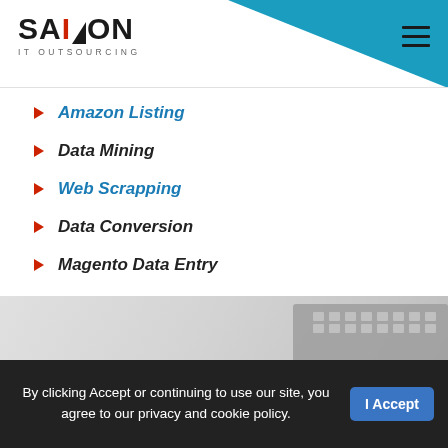SAIVION IT OUTSOURCING
Amazon Listing
Data Mining
Web Scrapping
Data Conversion
Magento Data Entry
[Figure (photo): Partial view of a laptop keyboard and what appears to be a smiley face or curved object on a light gray background]
Work Process of Data Entry at SaivionIndia
Clients send us their requirements through "Contact Us" form or e-mail.
By clicking Accept or continuing to use our site, you agree to our privacy and cookie policy.